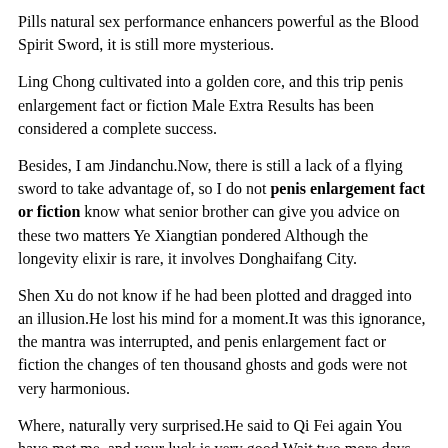Pills natural sex performance enhancers powerful as the Blood Spirit Sword, it is still more mysterious.
Ling Chong cultivated into a golden core, and this trip penis enlargement fact or fiction Male Extra Results has been considered a complete success.
Besides, I am Jindanchu.Now, there is still a lack of a flying sword to take advantage of, so I do not penis enlargement fact or fiction know what senior brother can give you advice on these two matters Ye Xiangtian pondered Although the longevity elixir is rare, it involves Donghaifang City.
Shen Xu do not know if he had been plotted and dragged into an illusion.He lost his mind for a moment.It was this ignorance, the mantra was interrupted, and penis enlargement fact or fiction the changes of ten thousand ghosts and gods were not very harmonious.
Where, naturally very surprised.He said to Qi Fei again You have met me, and your luck is very good.Wait two more days, and I will take you to the entrance.There is still one important thing to do right now.Ling Chong nodded lightly, without asking what it was.With the temperament of Qi Fei , apart from giving up his sword, Male Enhancement Pills Over The Counter penis enlargement fact or fiction he would distract himself from the